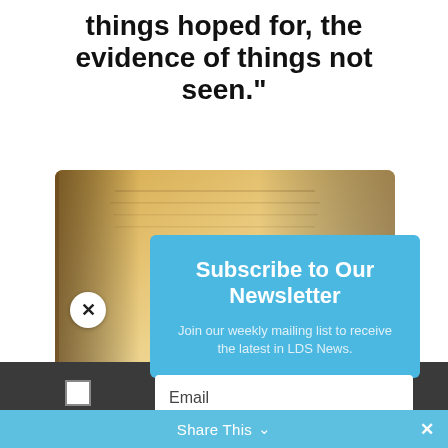things hoped for, the evidence of things not seen."
[Figure (photo): Close-up photograph of a Bible with blurred text on the pages, warm sepia/golden tones]
Subscribe to Our Newsletter
Join our weekly mailing list to receive the latest in LDS News.
Email
SUBSCRIBE!
Share This